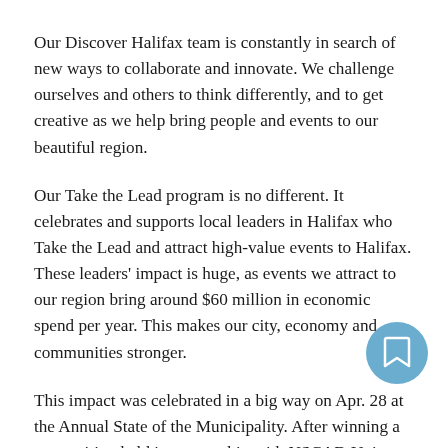Our Discover Halifax team is constantly in search of new ways to collaborate and innovate. We challenge ourselves and others to think differently, and to get creative as we help bring people and events to our beautiful region.
Our Take the Lead program is no different. It celebrates and supports local leaders in Halifax who Take the Lead and attract high-value events to Halifax. These leaders' impact is huge, as events we attract to our region bring around $60 million in economic spend per year. This makes our city, economy and communities stronger.
This impact was celebrated in a big way on Apr. 28 at the Annual State of the Municipality. After winning a competition held in partnership with NSCAD University, third-year NSCAD jewelry student Meichan (Amy) Yuan brought the ideals of our Take the Lead program to life